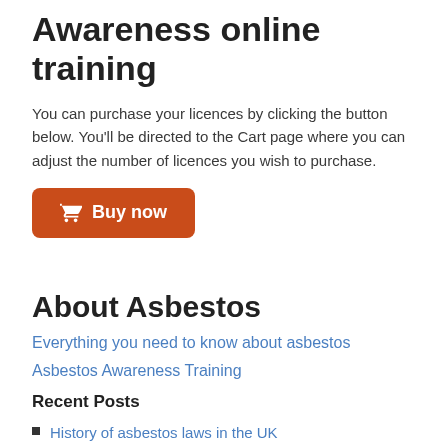Awareness online training
You can purchase your licences by clicking the button below. You'll be directed to the Cart page where you can adjust the number of licences you wish to purchase.
[Figure (other): Orange 'Buy now' button with shopping cart icon]
About Asbestos
Everything you need to know about asbestos
Asbestos Awareness Training
Recent Posts
History of asbestos laws in the UK
Innovative ways EU governments are combatting